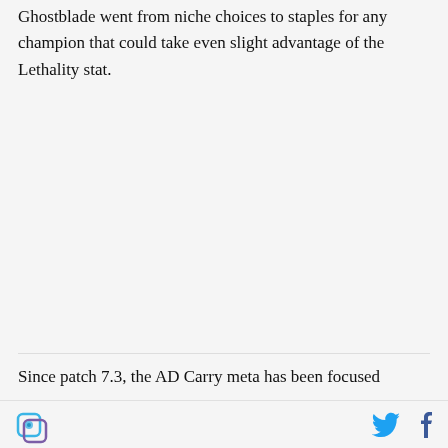Ghostblade went from niche choices to staples for any champion that could take even slight advantage of the Lethality stat.
Since patch 7.3, the AD Carry meta has been focused
logo | twitter | facebook